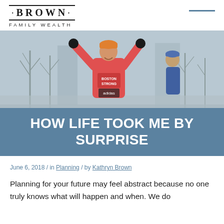· BROWN · FAMILY WEALTH
[Figure (photo): Marathon runner in a red 'Boston Strong' jacket celebrating with arms raised at finish line, winter scene with trees in background, other runner visible behind]
HOW LIFE TOOK ME BY SURPRISE
June 6, 2018 / in Planning / by Kathryn Brown
Planning for your future may feel abstract because no one truly knows what will happen and when. We do